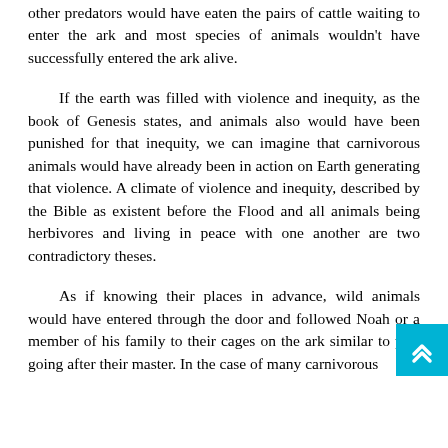other predators would have eaten the pairs of cattle waiting to enter the ark and most species of animals wouldn't have successfully entered the ark alive.
If the earth was filled with violence and inequity, as the book of Genesis states, and animals also would have been punished for that inequity, we can imagine that carnivorous animals would have already been in action on Earth generating that violence. A climate of violence and inequity, described by the Bible as existent before the Flood and all animals being herbivores and living in peace with one another are two contradictory theses.
As if knowing their places in advance, wild animals would have entered through the door and followed Noah or a member of his family to their cages on the ark similar to pets going after their master. In the case of many carnivorous